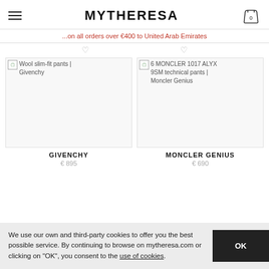MYTHERESA
...on all orders over €400 to United Arab Emirates
[Figure (screenshot): Product image placeholder for Wool slim-fit pants | Givenchy]
[Figure (screenshot): Product image placeholder for 6 MONCLER 1017 ALYX 9SM technical pants | Moncler Genius]
GIVENCHY
MONCLER GENIUS
€ 895
€ 690
We use our own and third-party cookies to offer you the best possible service. By continuing to browse on mytheresa.com or clicking on "OK", you consent to the use of cookies.